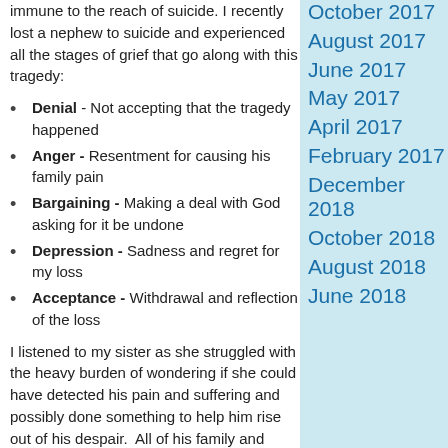immune to the reach of suicide. I recently lost a nephew to suicide and experienced all the stages of grief that go along with this tragedy:
Denial - Not accepting that the tragedy happened
Anger - Resentment for causing his family pain
Bargaining - Making a deal with God asking for it be undone
Depression - Sadness and regret for my loss
Acceptance - Withdrawal and reflection of the loss
I listened to my sister as she struggled with the heavy burden of wondering if she could have detected his pain and suffering and possibly done something to help him rise out of his despair.  All of his family and friends each
October 2017
August 2017
June 2017
May 2017
April 2017
February 2017
December 2018
October 2018
August 2018
June 2018